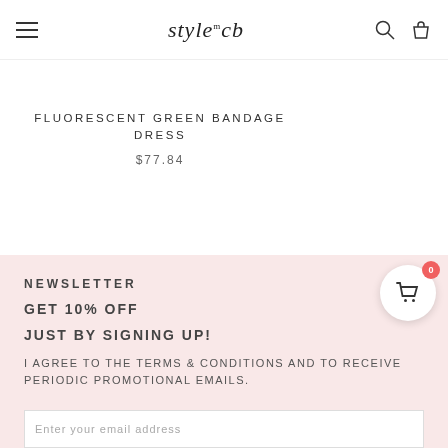style'cb — navigation bar with hamburger menu, logo, search and bag icons
[Figure (screenshot): Partial product image on right side (colorful clothing/textile photo cropped)]
FLUORESCENT GREEN BANDAGE DRESS
$77.84
MELALE (truncated product title on right)
NEWSLETTER
GET 10% OFF
JUST BY SIGNING UP!
I AGREE TO THE TERMS & CONDITIONS AND TO RECEIVE PERIODIC PROMOTIONAL EMAILS.
Enter your email address